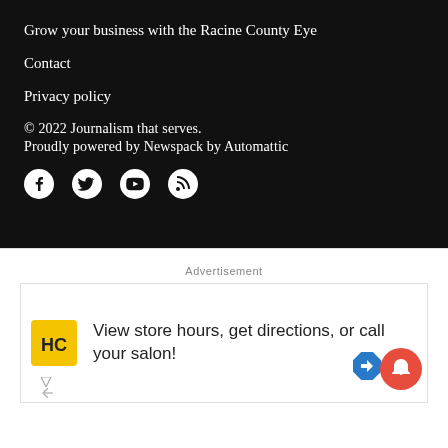Grow your business with the Racine County Eye
Contact
Privacy policy
© 2022 Journalism that serves.
Proudly powered by Newspack by Automattic
[Figure (other): Social media icons: Facebook, Twitter, YouTube, RSS feed]
[Figure (screenshot): White section with advertisement: 'View store hours, get directions, or call your salon!' with HC logo, navigation icon, and notification bell]
Advertisement